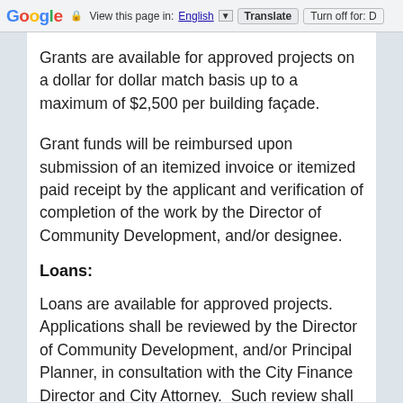Google  View this page in: English ▼  Translate  Turn off for: D
Grants are available for approved projects on a dollar for dollar match basis up to a maximum of $2,500 per building façade.
Grant funds will be reimbursed upon submission of an itemized invoice or itemized paid receipt by the applicant and verification of completion of the work by the Director of Community Development, and/or designee.
Loans:
Loans are available for approved projects. Applications shall be reviewed by the Director of Community Development, and/or Principal Planner, in consultation with the City Finance Director and City Attorney.  Such review shall consider the financial capacity of the applicant to repay the loan, and any